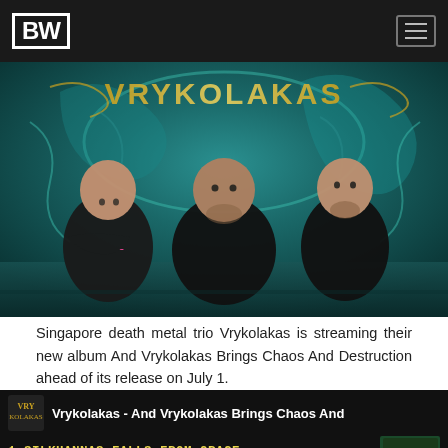BW
[Figure (photo): Three members of Singapore death metal trio Vrykolakas posing in front of illustrated band artwork/backdrop featuring intricate designs in teal and gold. Left member wears a Grave t-shirt with arms crossed, center member in black t-shirt, right member in band t-shirt.]
Singapore death metal trio Vrykolakas is streaming their new album And Vrykolakas Brings Chaos And Destruction ahead of its release on July 1.
[Figure (screenshot): Embedded music player showing 'Vrykolakas - And Vrykolakas Brings Chaos And' with track listing including '1 SILKHANNAS FALLS FROM GRACE' and partially visible '2 KAS EL DI' text, with the band logo icon on the left.]